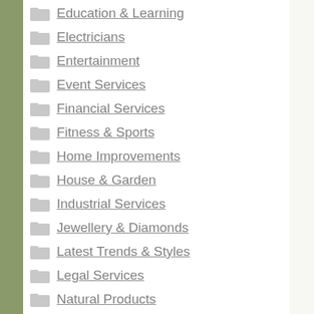Education & Learning
Electricians
Entertainment
Event Services
Financial Services
Fitness & Sports
Home Improvements
House & Garden
Industrial Services
Jewellery & Diamonds
Latest Trends & Styles
Legal Services
Natural Products
Non-Profit Organizations